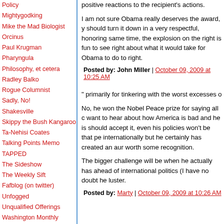Policy
Mightygodking
Mike the Mad Biologist
Orcinus
Paul Krugman
Pharyngula
Philosophy, et cetera
Radley Balko
Rogue Columnist
Sadly, No!
Shakesville
Skippy the Bush Kangaroo
Ta-Nehisi Coates
Talking Points Memo
TAPPED
The Sideshow
The Weekly Sift
Fafblog (on twitter)
Unfogged
Unqualified Offerings
Washington Monthly
positive reactions to the recipient's actions.
I am not sure Obama really deserves the award, y should turn it down in a very respectful, honoring same time, the explosion on the right is fun to see right about what it would take for Obama to do to right.
Posted by: John Miller | October 09, 2009 at 10:25 AM
" primarily for tinkering with the worst excesses o
No, he won the Nobel Peace prize for saying all c want to hear about how America is bad and he is should accept it, even his policies won't be that p internationally but he certainly has created an au worth some recognition.
The bigger challenge will be when he actually ha ahead of international politics (I have no doubt he luster.
Posted by: Marty | October 09, 2009 at 10:26 AM